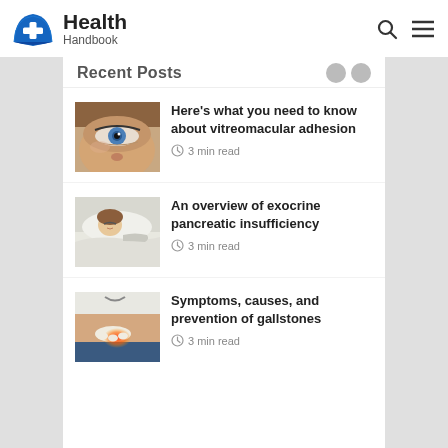Health Handbook
Recent Posts
[Figure (photo): Close-up of a woman's face with striking blue eyes looking upward]
Here’s what you need to know about vitreomacular adhesion
3 min read
[Figure (photo): Child sleeping or resting in bed covered with white blanket]
An overview of exocrine pancreatic insufficiency
3 min read
[Figure (photo): Doctor pressing on patient's abdomen area showing inflammation with glowing red spot]
Symptoms, causes, and prevention of gallstones
3 min read